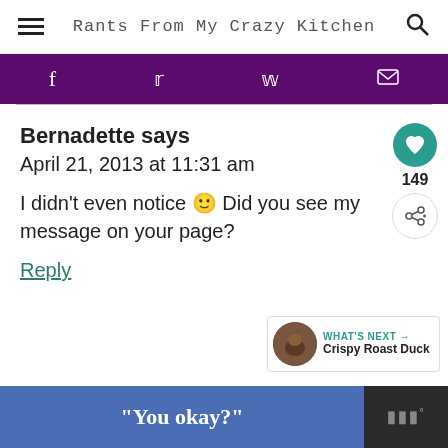Rants From My Crazy Kitchen
[Figure (infographic): Purple social sharing bar with Facebook, Twitter, Pinterest, and email icons]
Bernadette says
April 21, 2013 at 11:31 am

I didn't even notice 🙂 Did you see my message on your page?
Reply
[Figure (infographic): Bottom ad bar: blue section with quoted text 'You okay?' and dark section with logo]
WHAT'S NEXT → Crispy Roast Duck